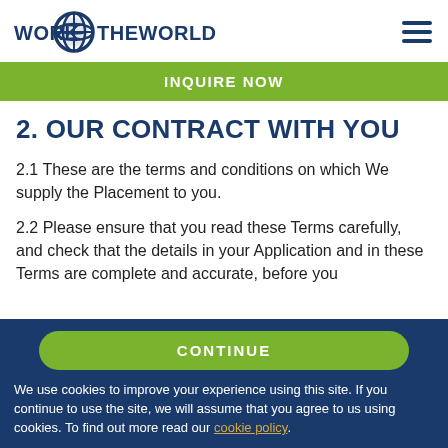WORK THE WORLD
INQUIRE NOW
2. OUR CONTRACT WITH YOU
2.1 These are the terms and conditions on which We supply the Placement to you.
2.2 Please ensure that you read these Terms carefully, and check that the details in your Application and in these Terms are complete and accurate, before you
CONTINUE
We use cookies to improve your experience using this site. If you continue to use the site, we will assume that you agree to us using cookies. To find out more read our cookie policy.